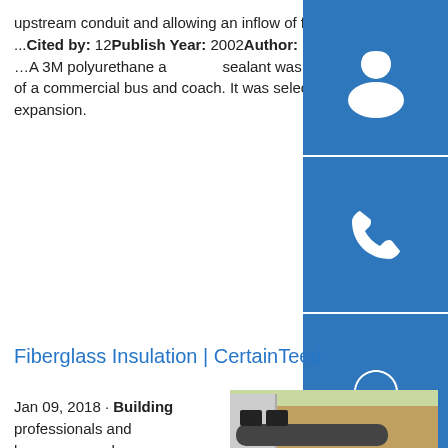upstream conduit and allowing an inflow of fluid to the hollow chamber. A manifold outlet connector molded into the manifold for ...Cited by: 12 Publish Year: 2002 Author: Michael Airheartsp.info Adhesive Bonding of Composites With Structural Adhesives | …A 3M polyurethane adhesive sealant was used to bond the glass-reinforced plastic (GRP) side panel to the coated steel frame of a commercial bus and coach. It was selected because offered a high load capacity and could withstand vibrations and thermal expansion.
[Figure (illustration): Three blue sidebar buttons: headset/support icon, phone icon, and Skype icon]
Fiberglass Insulation | CertainTeed
Jan 09, 2018 · Building professionals and homeowners choose fiberglass insulation because of its effectiveness, safety, and value. It won't deteriorate over time or lose
[Figure (photo): Construction site photo showing underground tanks and pipes being installed]